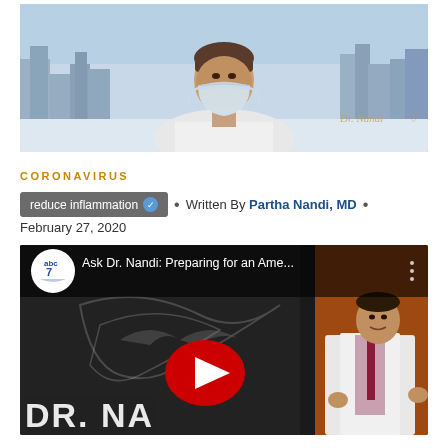[Figure (photo): Woman wearing a surgical face mask in front of a city skyline background, with Dr. Nandi watermark in bottom right]
CORONAVIRUS
reduce inflammation ✓  •  Written By Partha Nandi, MD  •
February 27, 2020
[Figure (screenshot): YouTube video thumbnail: Ask Dr. Nandi: Preparing for an Ame... with ABC 7 logo, red play button, and Dr. Nandi standing in front of his show backdrop. Text at bottom reads DR. NA...]